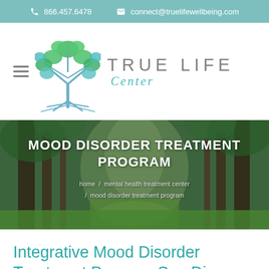866.457.6478   connect@truelifewellbeing.com
[Figure (logo): True Life Center logo with tree illustration and text 'TRUE LIFE Center']
MOOD DISORDER TREATMENT PROGRAM
home / mental health treatment center / mood disorder treatment program
Integrative Mood Disorder Treatment Program San Diego